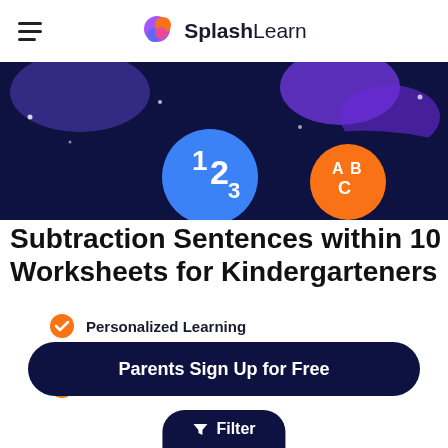SplashLearn
[Figure (illustration): Dark navy banner with colorful blob shapes, a blue circle with 123 text and an orange/red circle with ABC text, representing a math/literacy learning platform banner.]
Subtraction Sentences within 10 Worksheets for Kindergarteners
Personalized Learning
Fun Rewards
Actionable Reports
Parents Sign Up for Free
Filter